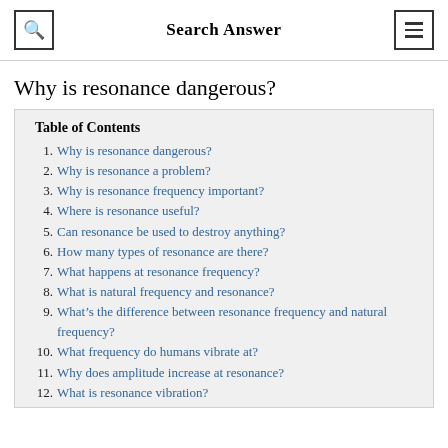Search Answer
Why is resonance dangerous?
Table of Contents
1. Why is resonance dangerous?
2. Why is resonance a problem?
3. Why is resonance frequency important?
4. Where is resonance useful?
5. Can resonance be used to destroy anything?
6. How many types of resonance are there?
7. What happens at resonance frequency?
8. What is natural frequency and resonance?
9. What’s the difference between resonance frequency and natural frequency?
10. What frequency do humans vibrate at?
11. Why does amplitude increase at resonance?
12. What is resonance vibration?